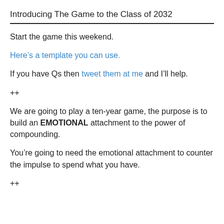Introducing The Game to the Class of 2032
Start the game this weekend.
Here’s a template you can use.
If you have Qs then tweet them at me and I’ll help.
++
We are going to play a ten-year game, the purpose is to build an EMOTIONAL attachment to the power of compounding.
You’re going to need the emotional attachment to counter the impulse to spend what you have.
++